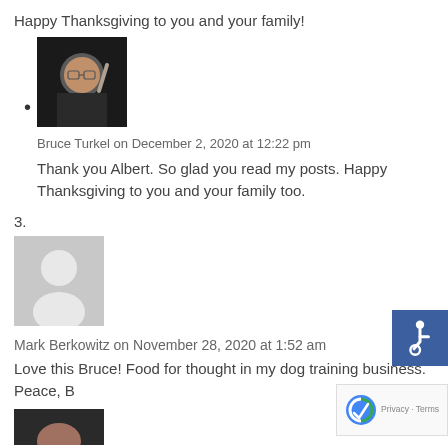Happy Thanksgiving to you and your family!
[Figure (photo): Photo of Bruce Turkel pointing upward, wearing glasses]
Bruce Turkel on December 2, 2020 at 12:22 pm
Thank you Albert. So glad you read my posts. Happy Thanksgiving to you and your family too.
3.
[Figure (illustration): Generic gray avatar placeholder silhouette]
Mark Berkowitz on November 28, 2020 at 1:52 am
Love this Bruce! Food for thought in my dog training business. Peace, B
[Figure (photo): Partial photo at bottom, person visible]